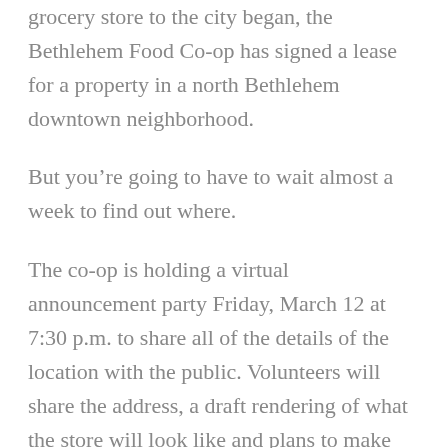grocery store to the city began, the Bethlehem Food Co-op has signed a lease for a property in a north Bethlehem downtown neighborhood.
But you’re going to have to wait almost a week to find out where.
The co-op is holding a virtual announcement party Friday, March 12 at 7:30 p.m. to share all of the details of the location with the public. Volunteers will share the address, a draft rendering of what the store will look like and plans to make the next steps happen, as well as an invitation to drive by the new site the next day.
The co-op is partnering with Peron Development and Boyle Construction on the project.